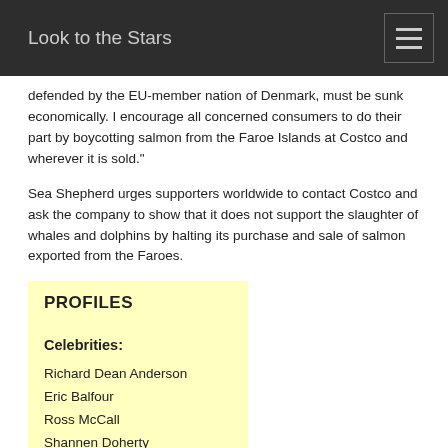Look to the Stars
defended by the EU-member nation of Denmark, must be sunk economically. I encourage all concerned consumers to do their part by boycotting salmon from the Faroe Islands at Costco and wherever it is sold."
Sea Shepherd urges supporters worldwide to contact Costco and ask the company to show that it does not support the slaughter of whales and dolphins by halting its purchase and sale of salmon exported from the Faroes.
PROFILES
Celebrities:
Richard Dean Anderson
Eric Balfour
Ross McCall
Shannen Doherty
Red Hot Chili Peppers
Anthony Kiedis